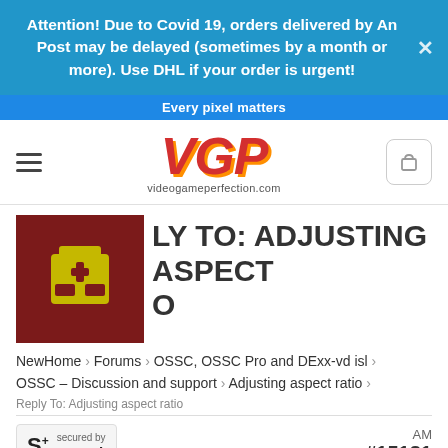Attention! Due to Covid 19, orders delivered by An Post may be delayed (sometimes by a month or more). Use DHL if your order is urgent!
Every pixel matters
[Figure (logo): VGP videogameperfection.com logo with red italic bold letters and orange shadow, hamburger menu icon on left, shopping cart icon on right]
LY TO: ADJUSTING ASPECT O
NewHome › Forums › OSSC, OSSC Pro and DExx-vd isl › OSSC – Discussion and support › Adjusting aspect ratio ›
Reply To: Adjusting aspect ratio
[Figure (logo): Secured by Sucuri badge - S+ logo with 'secured by sucuri' text]
AM
#15181
Thankren Ronoo Ritz for your answer